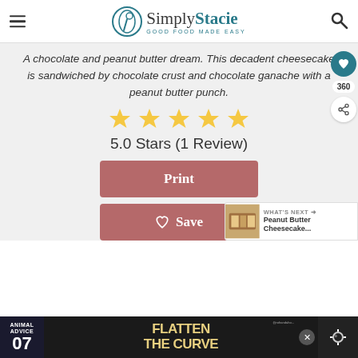Simply Stacie - Good Food Made Easy
A chocolate and peanut butter dream. This decadent cheesecake is sandwiched by chocolate crust and chocolate ganache with a peanut butter punch.
[Figure (other): 5 gold star rating icons]
5.0 Stars (1 Review)
Print
Save
WHAT'S NEXT → Peanut Butter Cheesecake...
[Figure (screenshot): Ad banner: Animal Advice 07 FLATTEN THE CURVE @rohandahok]